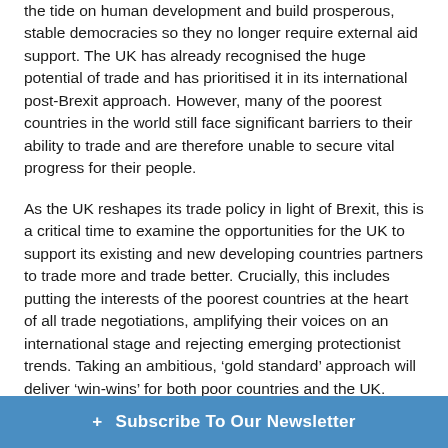the tide on human development and build prosperous, stable democracies so they no longer require external aid support. The UK has already recognised the huge potential of trade and has prioritised it in its international post-Brexit approach. However, many of the poorest countries in the world still face significant barriers to their ability to trade and are therefore unable to secure vital progress for their people.
As the UK reshapes its trade policy in light of Brexit, this is a critical time to examine the opportunities for the UK to support its existing and new developing countries partners to trade more and trade better. Crucially, this includes putting the interests of the poorest countries at the heart of all trade negotiations, amplifying their voices on an international stage and rejecting emerging protectionist trends. Taking an ambitious, ‘gold standard’ approach will deliver ‘win-wins’ for both poor countries and the UK.
You do not need to register to attend this event – anyone with a pass to the Conservative Party Conference is we... have any questic...
+ Subscribe To Our Newsletter